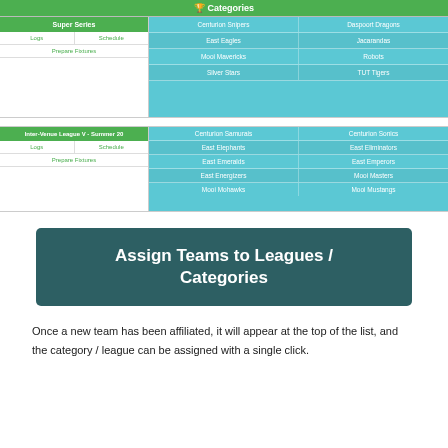Categories
| Super Series | Teams |
| --- | --- |
| Logs | Schedule | Prepare Fixtures | Centurion Snipers · Daspoort Dragons |
|  | East Eagles · Jacarandas |
|  | Mooi Mavericks · Robots |
|  | Silver Stars · TUT Tigers |
| Inter-Venue League V - Summer 20... | Teams |
| --- | --- |
| Logs | Schedule | Prepare Fixtures | Centurion Samurais · Centurion Sonics |
|  | East Elephants · East Eliminators |
|  | East Emeralds · East Emperors |
|  | East Energizers · Mooi Masters |
|  | Mooi Mohawks · Mooi Mustangs |
ADD CATEGORY
ADD categories
Back to Teams & categories
Assign Teams to Leagues / Categories
Once a new team has been affiliated, it will appear at the top of the list, and the category / league can be assigned with a single click.